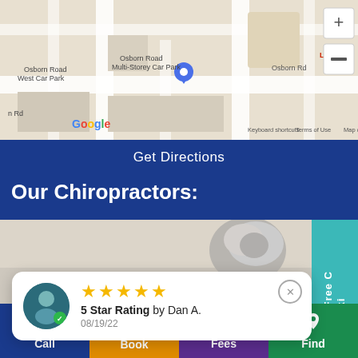[Figure (map): Google Maps screenshot showing Osborn Road West Car Park, Osborn Road Multi-Storey Car Park, Osborn Road with a parking pin marker, and map controls (+/-). Footer shows 'Keyboard shortcuts  Map data ©2022  Terms of Use'.]
Get Directions
Our Chiropractors:
[Figure (photo): Partial photo of a chiropractor with grey/white hair bun visible, light background, with a teal sidebar on the right showing 'Free C... ki' text vertically.]
5 Star Rating by Dan A.
08/19/22
Call
Book
Fees
Find